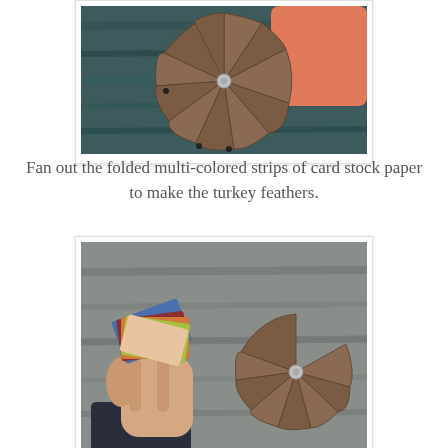[Figure (photo): Photo of brown folded paper strips fanned out in a circular fan shape resembling turkey feathers, with a metal brad/fastener in the center. An orange cylindrical object is visible in the background. Set against a dark teal/wood background.]
Fan out the folded multi-colored strips of card stock paper to make the turkey feathers.
[Figure (photo): Photo of a hand holding fanned-out multi-colored strips of card stock paper (orange, yellow-green, blue) alongside a brown paper fan shape with a brad, all placed on a gray wooden surface background.]